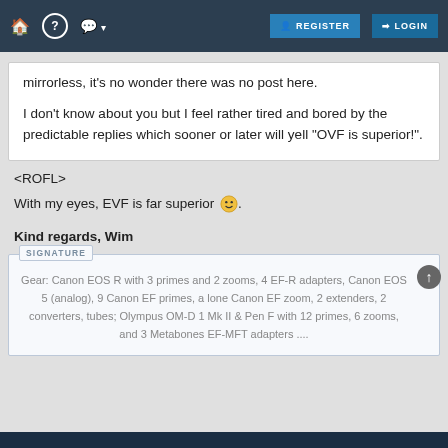🏠  ?  💬 ▾  REGISTER  LOGIN
mirrorless, it's no wonder there was no post here.

I don't know about you but I feel rather tired and bored by the predictable replies which sooner or later will yell "OVF is superior!".
<ROFL>
With my eyes, EVF is far superior 😊.

Kind regards, Wim
Gear: Canon EOS R with 3 primes and 2 zooms, 4 EF-R adapters, Canon EOS 5 (analog), 9 Canon EF primes, a lone Canon EF zoom, 2 extenders, 2 converters, tubes; Olympus OM-D 1 Mk II & Pen F with 12 primes, 6 zooms, and 3 Metabones EF-MFT adapters ....